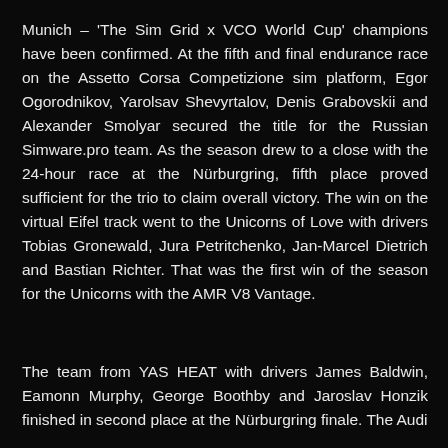Munich – 'The Sim Grid x VCO World Cup' champions have been confirmed. At the fifth and final endurance race on the Assetto Corsa Competizione sim platform, Egor Ogorodnikov, Yarolsav Shevyrtalov, Denis Grabovskii and Alexander Smolyar secured the title for the Russian Simware.pro team. As the season drew to a close with the 24-hour race at the Nürburgring, fifth place proved sufficient for the trio to claim overall victory. The win on the virtual Eifel track went to the Unicorns of Love with drivers Tobias Gronewald, Jura Petritchenko, Jan-Marcel Dietrich and Bastian Richter. That was the first win of the season for the Unicorns with the AMR V8 Vantage.
The team from YAS HEAT with drivers James Baldwin, Eamonn Murphy, George Boothby and Jaroslav Honzik finished in second place at the Nürburgring finale. The Audi